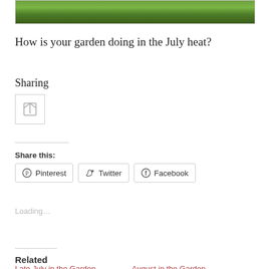[Figure (photo): Close-up photo of green garden plants/foliage with lush leaves]
How is your garden doing in the July heat?
Sharing
[Figure (illustration): Small sharing/document icon]
Share this:
Pinterest   Twitter   Facebook
Loading...
Related
Late July in the Garden   August in the Garden